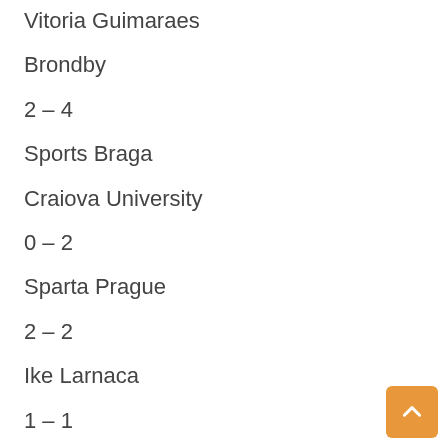Vitoria Guimaraes
Brondby
2 – 4
Sports Braga
Craiova University
0 – 2
Sparta Prague
2 – 2
Ike Larnaca
1 – 1
FC Astana